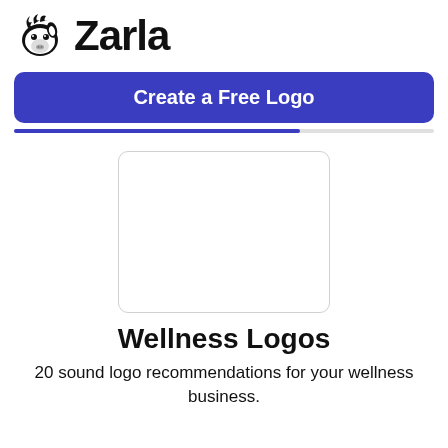Zarla
Create a Free Logo
[Figure (illustration): Empty white rounded rectangle placeholder image area]
Wellness Logos
20 sound logo recommendations for your wellness business.